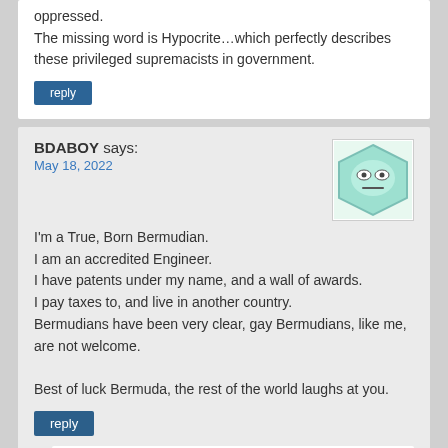oppressed.
The missing word is Hypocrite…which perfectly describes these privileged supremacists in government.
reply
BDABOY says:
May 18, 2022
[Figure (illustration): Hexagonal avatar icon with a bored/neutral face expression, light blue/teal color]
I'm a True, Born Bermudian.
I am an accredited Engineer.
I have patents under my name, and a wall of awards.
I pay taxes to, and live in another country.
Bermudians have been very clear, gay Bermudians, like me, are not welcome.

Best of luck Bermuda, the rest of the world laughs at you.
reply
Joe Bloggs says:
May 18, 2022
[Figure (illustration): Square avatar showing a cartoon character with glasses and a tan/orange skin tone]